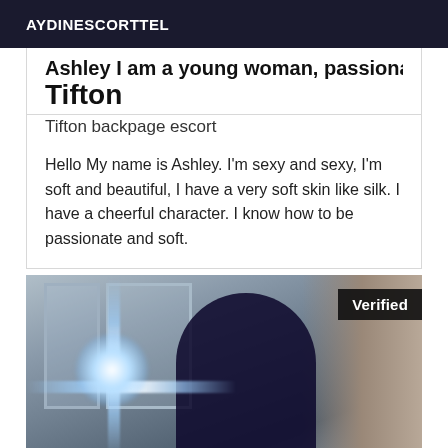AYDINESCORTTEL
Ashley I am a young woman, passionate
Tifton
Tifton backpage escort
Hello My name is Ashley. I'm sexy and sexy, I'm soft and beautiful, I have a very soft skin like silk. I have a cheerful character. I know how to be passionate and soft.
[Figure (photo): A person photographed in a mirror selfie with a bright lens flare/flash effect. The subject has dark hair and is in a dimly lit room with a door or window frame visible in the background. A 'Verified' badge appears in the top right corner of the image.]